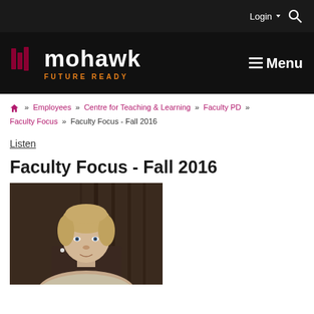Login  Menu
[Figure (logo): Mohawk College logo with 'FUTURE READY' tagline on black background, with Menu button]
Home » Employees » Centre for Teaching & Learning » Faculty PD » Faculty Focus » Faculty Focus - Fall 2016
Listen
Faculty Focus - Fall 2016
[Figure (photo): Portrait photo of a middle-aged woman with short blonde hair, seated indoors]